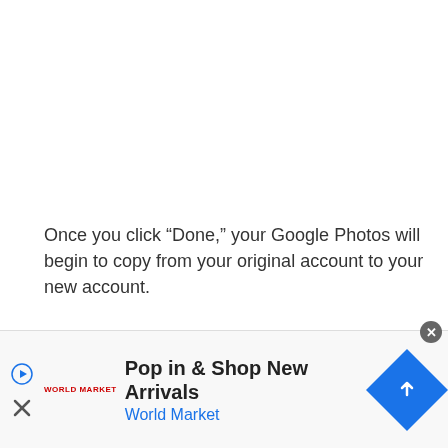Once you click “Done,” your Google Photos will begin to copy from your original account to your new account.
For continuous shared photos across multiple accounts, complete the invitation process by opening the invitation
[Figure (screenshot): Advertisement banner for World Market: 'Pop in & Shop New Arrivals' with World Market logo, play/close icons, and a blue diamond-shaped navigation icon.]